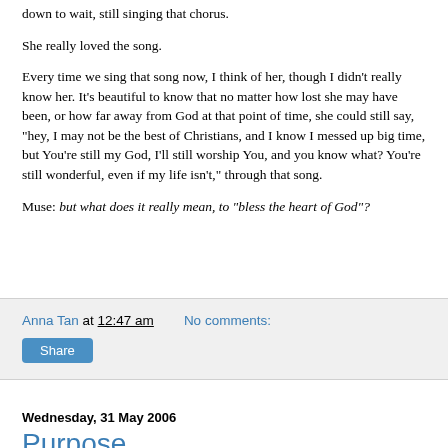down to wait, still singing that chorus.
She really loved the song.
Every time we sing that song now, I think of her, though I didn't really know her. It's beautiful to know that no matter how lost she may have been, or how far away from God at that point of time, she could still say, "hey, I may not be the best of Christians, and I know I messed up big time, but You're still my God, I'll still worship You, and you know what? You're still wonderful, even if my life isn't," through that song.
Muse: but what does it really mean, to "bless the heart of God"?
Anna Tan at 12:47 am   No comments:
Share
Wednesday, 31 May 2006
Purpose